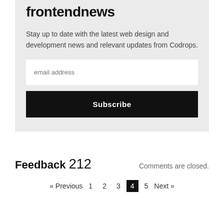frontendnews
Stay up to date with the latest web design and development news and relevant updates from Codrops.
email address
Subscribe
Feedback 212
Comments are closed.
« Previous  1  2  3  4  5  Next »